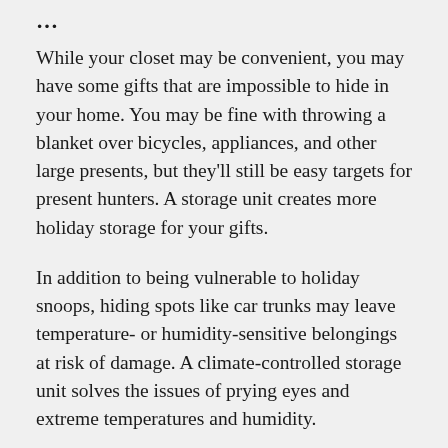…
While your closet may be convenient, you may have some gifts that are impossible to hide in your home. You may be fine with throwing a blanket over bicycles, appliances, and other large presents, but they'll still be easy targets for present hunters. A storage unit creates more holiday storage for your gifts.
In addition to being vulnerable to holiday snoops, hiding spots like car trunks may leave temperature- or humidity-sensitive belongings at risk of damage. A climate-controlled storage unit solves the issues of prying eyes and extreme temperatures and humidity.
Even if your loved ones do suspect you're stashing presents in a storage unit, they won't be able to access it as they could in your bedroom closet or spare room. Other storage security features, such as fully fenced perimeters